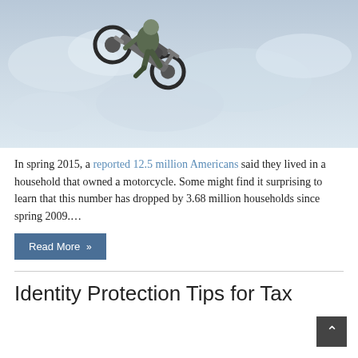[Figure (photo): A motocross rider performing a dramatic aerial trick on a dirt bike against a cloudy sky background. The rider is separated from the bike mid-air.]
In spring 2015, a reported 12.5 million Americans said they lived in a household that owned a motorcycle. Some might find it surprising to learn that this number has dropped by 3.68 million households since spring 2009.…
Read More »
Identity Protection Tips for Tax